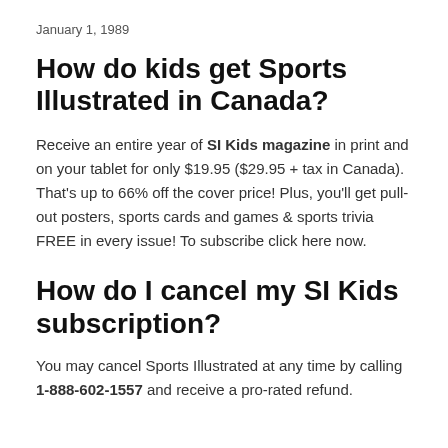January 1, 1989
How do kids get Sports Illustrated in Canada?
Receive an entire year of SI Kids magazine in print and on your tablet for only $19.95 ($29.95 + tax in Canada). That’s up to 66% off the cover price! Plus, you’ll get pull-out posters, sports cards and games & sports trivia FREE in every issue! To subscribe click here now.
How do I cancel my SI Kids subscription?
You may cancel Sports Illustrated at any time by calling 1-888-602-1557 and receive a pro-rated refund.